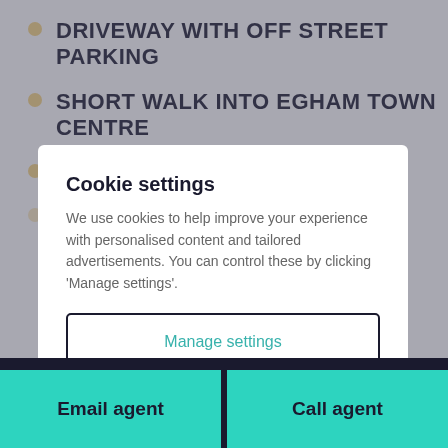DRIVEWAY WITH OFF STREET PARKING
SHORT WALK INTO EGHAM TOWN CENTRE
ENCLOSED REAR GARDEN
VILLAGE LOCATION
Cookie settings
We use cookies to help improve your experience with personalised content and tailored advertisements. You can control these by clicking 'Manage settings'.
Manage settings
Allow all cookies
Email agent
Call agent